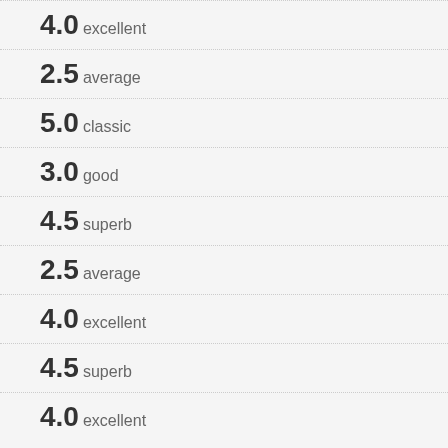4.0 excellent
2.5 average
5.0 classic
3.0 good
4.5 superb
2.5 average
4.0 excellent
4.5 superb
4.0 excellent